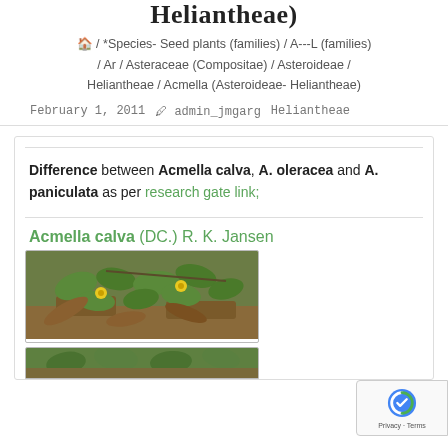Heliantheae)
/ *Species- Seed plants (families) / A---L (families) / Ar / Asteraceae (Compositae) / Asteroideae / Heliantheae / Acmella (Asteroideae- Heliantheae)
February 1, 2011   admin_jmgarg   Heliantheae
Difference between Acmella calva, A. oleracea and A. paniculata as per research gate link;
Acmella calva (DC.) R. K. Jansen
[Figure (photo): Photograph of Acmella calva plant showing green leaves and small yellow flowers on ground level]
[Figure (photo): Second photograph of Acmella calva plant, ground-level view of green foliage]